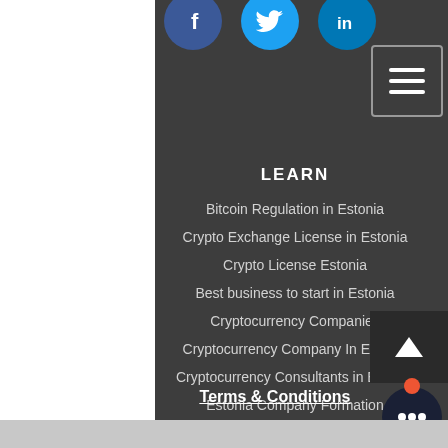[Figure (screenshot): Social media icons: Facebook (blue circle with T), Twitter (blue circle with bird), LinkedIn (blue circle with in)]
[Figure (other): Hamburger menu button (three horizontal lines) with white border]
LEARN
Bitcoin Regulation in Estonia
Crypto Exchange License in Estonia
Crypto License Estonia
Best business to start in Estonia
Cryptocurrency Companies
Cryptocurrency Company In Estonia
Cryptocurrency Consultants in Estonia
Estonia Company Formation
Bitcoin Whitepaper
Terms & Conditions